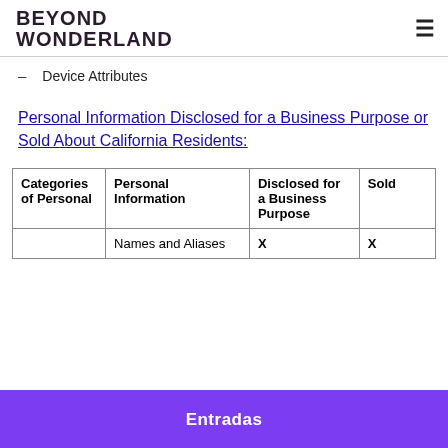BEYOND WONDERLAND
Device Attributes
Personal Information Disclosed for a Business Purpose or Sold About California Residents:
| Categories of Personal | Personal Information | Disclosed for a Business Purpose | Sold |
| --- | --- | --- | --- |
|  | Names and Aliases | X | X |
Entradas